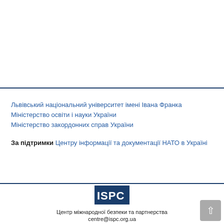Львівський національний університет імені Івана Франка
Міністерство освіти і науки України
Міністерство закордонних справ України
За підтримки Центру інформації та документації НАТО в Україні
[Figure (logo): ISPC logo — white letters on dark blue rectangle]
Центр міжнародної безпеки та партнерства
centre@ispc.org.ua